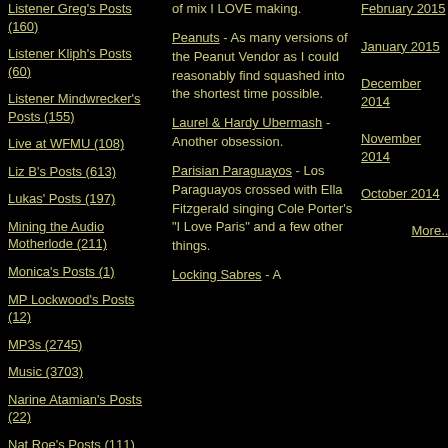Listener Greg's Posts (160)
Listener Kliph's Posts (60)
Listener Mindwrecker's Posts (155)
Live at WFMU (108)
Liz B's Posts (613)
Lukas' Posts (197)
Mining the Audio Motherlode (211)
Monica's Posts (1)
MP Lockwood's Posts (12)
MP3s (2745)
Music (3703)
Narine Atamian's Posts (22)
Nat Roe's Posts (111)
Nate Knaebel's Posts (4)
Network Awesome (79)
New Jersey (189)
of mix I LOVE making.
Peanuts - As many versions of the Peanut Vendor as I could reasonably find squashed into the shortest time possible.
Laurel & Hardy Ubermash - Another obsession.
Parisian Paraguayos - Los Paraguayos crossed with Ella Fitzgerald singing Cole Porter's "I Love Paris" and a few other things.
Locking Sabres - A
February 2015
January 2015
December 2014
November 2014
October 2014
More...